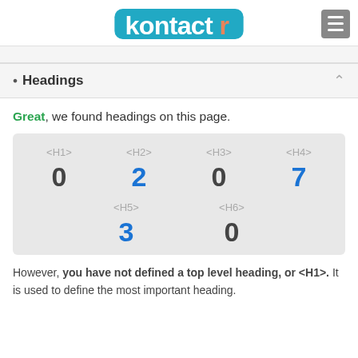kontactr
Headings
Great, we found headings on this page.
| <H1> | <H2> | <H3> | <H4> | <H5> | <H6> |
| --- | --- | --- | --- | --- | --- |
| 0 | 2 | 0 | 7 | 3 | 0 |
However, you have not defined a top level heading, or <H1>. It is used to define the most important heading.